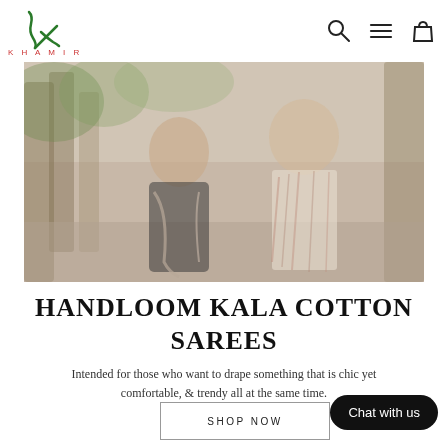KHAMIR — navigation with search, menu, and cart icons
[Figure (photo): Two women wearing handloom cotton sarees, standing outdoors with trees in the background. Muted, soft-toned lifestyle photograph.]
HANDLOOM KALA COTTON SAREES
Intended for those who want to drape something that is chic yet comfortable, & trendy all at the same time.
SHOP NOW
Chat with us